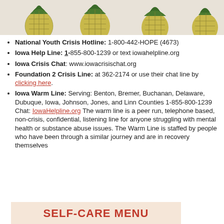[Figure (illustration): Row of pineapples as decorative header image]
National Youth Crisis Hotline: 1-800-442-HOPE (4673)
Iowa Help Line: 1-855-800-1239 or text iowahelpline.org
Iowa Crisis Chat: www.iowacrisischat.org
Foundation 2 Crisis Line: at 362-2174 or use their chat line by clicking here.
Iowa Warm Line: Serving: Benton, Bremer, Buchanan, Delaware, Dubuque, Iowa, Johnson, Jones, and Linn Counties 1-855-800-1239 Chat: IowaHelpline.org  The warm line is a peer run, telephone based, non-crisis, confidential, listening line for anyone struggling with mental health or substance abuse issues. The Warm Line is staffed by people who have been through a similar journey and are in recovery themselves
SELF-CARE MENU